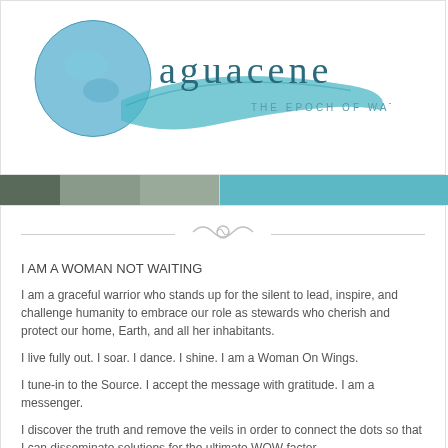[Figure (logo): Aguacene logo with globe and water wave, text reads 'aguacene THE EPOCH OF WATER']
[Figure (photo): Photo banner strip with teal background showing partial photo of people]
I AM A WOMAN NOT WAITING
I am a graceful warrior who stands up for the silent to lead, inspire, and challenge humanity to embrace our role as stewards who cherish and protect our home, Earth, and all her inhabitants.
I live fully out. I soar. I dance. I shine. I am a Woman On Wings.
I tune-in to the Source. I accept the message with gratitude. I am a messenger.
I discover the truth and remove the veils in order to connect the dots so that I can disseminate solutions for the ultimate WOW factor.